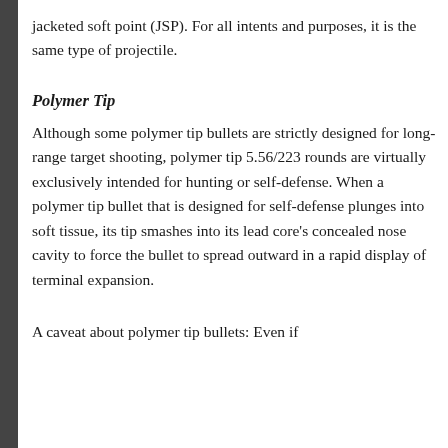jacketed soft point (JSP). For all intents and purposes, it is the same type of projectile.
Polymer Tip
Although some polymer tip bullets are strictly designed for long-range target shooting, polymer tip 5.56/223 rounds are virtually exclusively intended for hunting or self-defense. When a polymer tip bullet that is designed for self-defense plunges into soft tissue, its tip smashes into its lead core's concealed nose cavity to force the bullet to spread outward in a rapid display of terminal expansion.
A caveat about polymer tip bullets: Even if